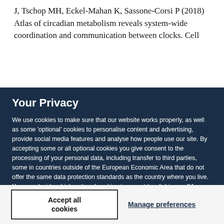J, Tschop MH, Eckel-Mahan K, Sassone-Corsi P (2018) Atlas of circadian metabolism reveals system-wide coordination and communication between clocks. Cell
Your Privacy
We use cookies to make sure that our website works properly, as well as some 'optional' cookies to personalise content and advertising, provide social media features and analyse how people use our site. By accepting some or all optional cookies you give consent to the processing of your personal data, including transfer to third parties, some in countries outside of the European Economic Area that do not offer the same data protection standards as the country where you live. You can decide which optional cookies to accept by clicking on 'Manage Settings', where you can also find more information about how your personal data is processed. Further information can be found in our privacy policy.
Accept all cookies
Manage preferences